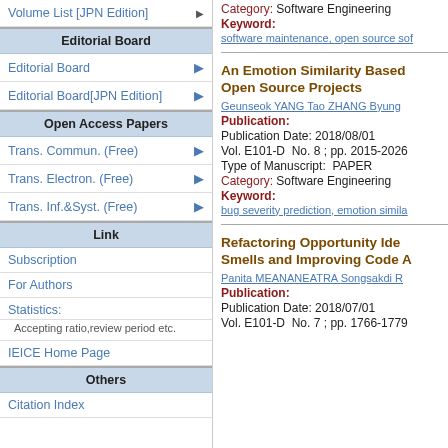Volume List [JPN Edition]
Editorial Board
Editorial Board
Editorial Board[JPN Edition]
Open Access Papers
Trans. Commun. (Free)
Trans. Electron. (Free)
Trans. Inf.&Syst. (Free)
Link
Subscription
For Authors
Statistics:
Accepting ratio,review period etc.
IEICE Home Page
Others
Citation Index
Category: Software Engineering
Keyword:
software maintenance, open source sof
An Emotion Similarity Based Open Source Projects
Geunseok YANG  Tao ZHANG  Byung
Publication:
Publication Date: 2018/08/01
Vol. E101-D  No. 8 ; pp. 2015-2026
Type of Manuscript:  PAPER
Category: Software Engineering
Keyword:
bug severity prediction, emotion simila
Refactoring Opportunity Ide Smells and Improving Code A
Panita MEANANEATRA  Songsakdi R
Publication:
Publication Date: 2018/07/01
Vol. E101-D  No. 7 ; pp. 1766-1779